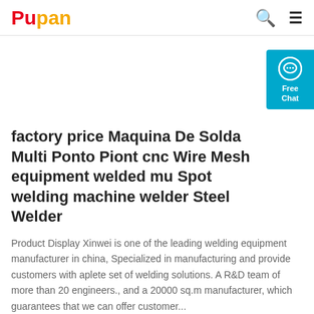Pupan
[Figure (other): Blank white image placeholder area for product photo]
factory price Maquina De Solda Multi Ponto Piont cnc Wire Mesh equipment welded mu Spot welding machine welder Steel Welder
Product Display Xinwei is one of the leading welding equipment manufacturer in china, Specialized in manufacturing and provide customers with aplete set of welding solutions. A R&D team of more than 20 engineers., and a 20000 sq.m manufacturer, which guarantees that we can offer customer...